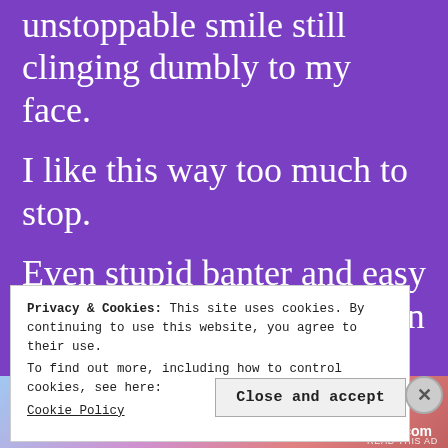unstoppable smile still clinging dumbly to my face.
I like this way too much to stop.
Even stupid banter and easy back and forth is better than evil eyes and long, lingering stares that make m... u...
Privacy & Cookies: This site uses cookies. By continuing to use this website, you agree to their use.
To find out more, including how to control cookies, see here:
Cookie Policy
Close and accept
[Figure (infographic): WordPress.com advertisement banner with gradient background (blue to pink/red), text 'Simplified pricing for everything you need.' and WordPress.com logo]